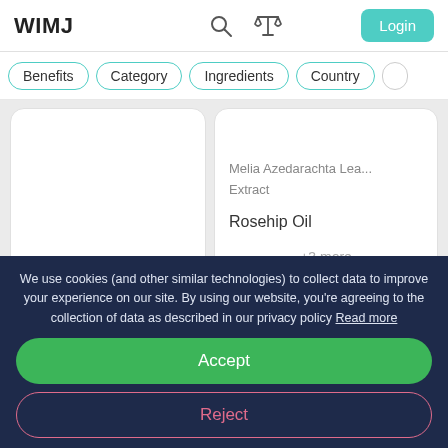WIMJ
Benefits
Category
Ingredients
Country
Melia Azedarachta Leaf Extract
Rosehip Oil
+3 more
IRRITANCY HIGH
Appears in 0 user routines
We use cookies (and other similar technologies) to collect data to improve your experience on our site. By using our website, you're agreeing to the collection of data as described in our privacy policy Read more
Accept
Reject